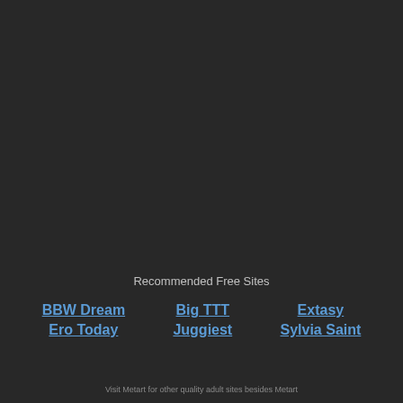Recommended Free Sites
BBW Dream
Ero Today
Big TTT
Juggiest
Extasy
Sylvia Saint
Visit Metart for other quality adult sites besides Metart